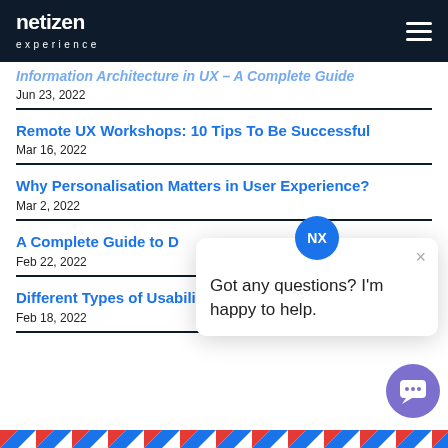netizen experience
Information Architecture in UX – A Complete Guide
Jun 23, 2022
Remote UX Workshops: 10 Tips To Be Successful
Mar 16, 2022
Why Personalisation Matters in User Experience?
Mar 2, 2022
A Complete Guide to D…
Feb 22, 2022
Different Types of Usability Testing Methods
Feb 18, 2022